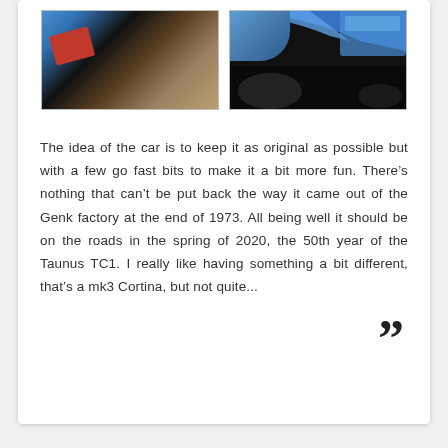[Figure (photo): Two photos of a classic car restoration project showing a blue car body/chassis. Left photo shows underside/rear with a red component visible. Right photo shows side panel detail with blue bodywork against a dark workshop background.]
The idea of the car is to keep it as original as possible but with a few go fast bits to make it a bit more fun. There’s nothing that can’t be put back the way it came out of the Genk factory at the end of 1973. All being well it should be on the roads in the spring of 2020, the 50th year of the Taunus TC1. I really like having something a bit different, that’s a mk3 Cortina, but not quite...